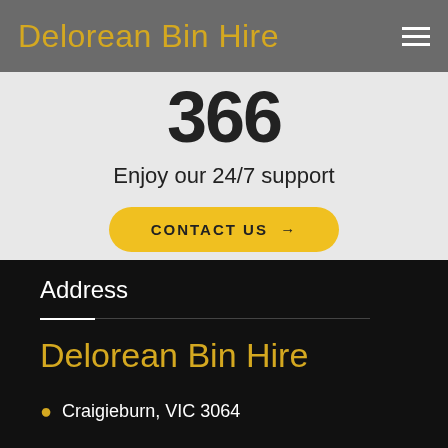Delorean Bin Hire
366
Enjoy our 24/7 support
CONTACT US →
Address
Delorean Bin Hire
Craigieburn, VIC 3064